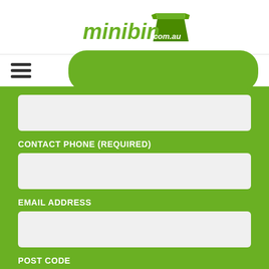[Figure (logo): minibin.com.au logo — green mini skip bin with stylized italic text]
[Figure (other): Hamburger navigation menu icon (three horizontal bars)]
[Figure (other): Green rounded rectangle button (get a quote)]
CONTACT PHONE (REQUIRED)
EMAIL ADDRESS
POST CODE